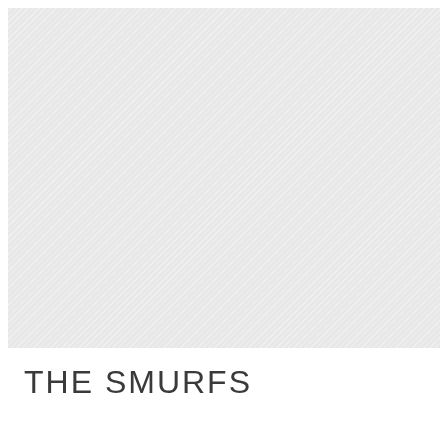[Figure (photo): Large light grey hatched/textured placeholder image area occupying the upper portion of the page]
THE SMURFS